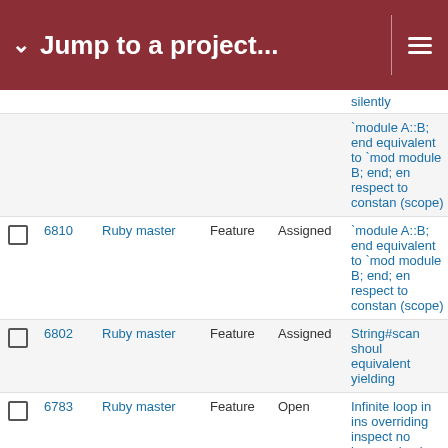Jump to a project...
|  | ID | Project | Type | Status | Description |
| --- | --- | --- | --- | --- | --- |
|  |  |  |  |  | silently |
|  |  |  |  |  | `module A::B; end equivalent to `module B; end; end` with respect to constant (scope) |
| ☐ | 6810 | Ruby master | Feature | Assigned | `module A::B; end equivalent to `module B; end; end` with respect to constant (scope) |
| ☐ | 6802 | Ruby master | Feature | Assigned | String#scan should equivalent yielding |
| ☐ | 6783 | Ruby master | Feature | Open | Infinite loop in inspect when overriding inspect with no known circular. Stepping into inspect in debugger locks it at 100% CPU. |
| ☐ | 6769 | Ruby master | Feature | Assigned | rbinstall.rb: install and batch files se |
| ☐ | 6758 | Ruby master | Feature | Open | Object#sequence |
| ☐ | 6733 | Ruby master | Feature | Open | New inspect frame |
| ☐ | 6695 | Ruby master | Feature | Assigned | Configuration for Thread creation |
| ☐ | 6694 | Ruby master | Feature | Assigned | Thread.new witho |